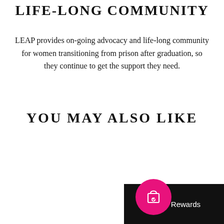LIFE-LONG COMMUNITY
LEAP provides on-going advocacy and life-long community for women transitioning from prison after graduation, so they continue to get the support they need.
YOU MAY ALSO LIKE
[Figure (other): Pink circular button with shopping bag and heart icon, with black 'Earn Rewards' label bar in bottom right corner]